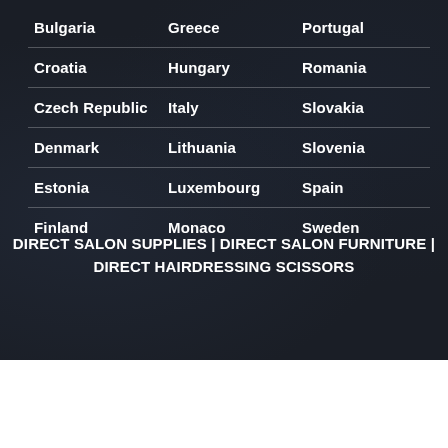| Bulgaria | Greece | Portugal |
| Croatia | Hungary | Romania |
| Czech Republic | Italy | Slovakia |
| Denmark | Lithuania | Slovenia |
| Estonia | Luxembourg | Spain |
| Finland | Monaco | Sweden |
DIRECT SALON SUPPLIES | DIRECT SALON FURNITURE | DIRECT HAIRDRESSING SCISSORS